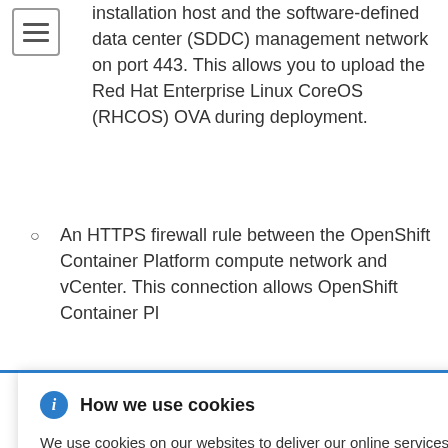[Figure (other): Hamburger/menu icon: three horizontal lines inside a square border]
installation host and the software-defined data center (SDDC) management network on port 443. This allows you to upload the Red Hat Enterprise Linux CoreOS (RHCOS) OVA during deployment.
An HTTPS firewall rule between the OpenShift Container Platform compute network and vCenter. This connection allows OpenShift Container Platform to
provisioning t volume rces. tion to n:
How we use cookies — Cookie popup overlay: We use cookies on our websites to deliver our online services. Details about how we use cookies and how you may disable them are set out in our Privacy Statement. By using this website you agree to our use of cookies.
The OpenShift Container Platform cluster